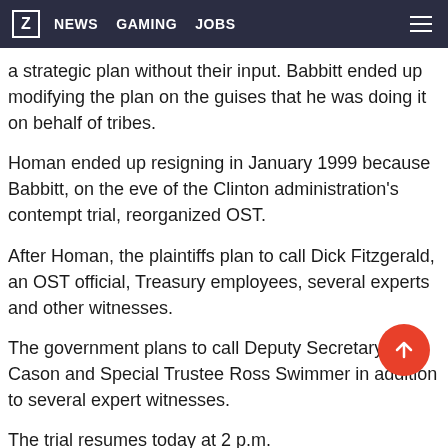Z  NEWS  GAMING  JOBS
a strategic plan without their input. Babbitt ended up modifying the plan on the guises that he was doing it on behalf of tribes.
Homan ended up resigning in January 1999 because Babbitt, on the eve of the Clinton administration's contempt trial, reorganized OST.
After Homan, the plaintiffs plan to call Dick Fitzgerald, an OST official, Treasury employees, several experts and other witnesses.
The government plans to call Deputy Secretary Jim Cason and Special Trustee Ross Swimmer in addition to several expert witnesses.
The trial resumes today at 2 p.m.
Relevant Documents:
DOI: Historical Accounting Plan | DOI: Fiduciary Obligations Regarding About Plaintiffs Remedial About Plaintiffs Ref...